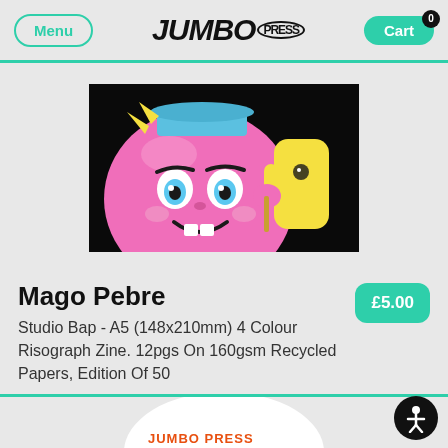Menu | JUMBO PRESS | Cart
[Figure (illustration): Cartoon illustration of a large pink spherical character with big blue eyes, rosy cheeks, and a smile, wearing a blue cap. A yellow cartoon character is visible to the right, set against a black background.]
Mago Pebre
Studio Bap - A5 (148x210mm) 4 Colour Risograph Zine. 12pgs On 160gsm Recycled Papers, Edition Of 50
£5.00
[Figure (photo): White t-shirt with orange text 'JUMBO PRESS' visible at the bottom of the image, partially cropped.]